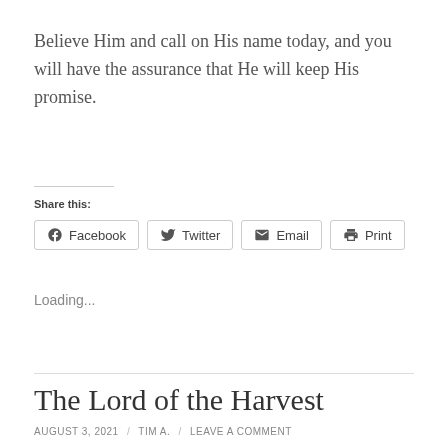Believe Him and call on His name today, and you will have the assurance that He will keep His promise.
Share this:
Facebook  Twitter  Email  Print
Loading...
The Lord of the Harvest
AUGUST 3, 2021 / TIM A. / LEAVE A COMMENT